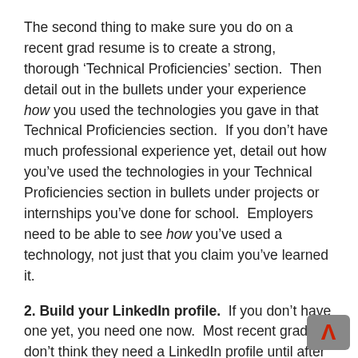The second thing to make sure you do on a recent grad resume is to create a strong, thorough ‘Technical Proficiencies’ section.  Then detail out in the bullets under your experience how you used the technologies you gave in that Technical Proficiencies section.  If you don’t have much professional experience yet, detail out how you’ve used the technologies in your Technical Proficiencies section in bullets under projects or internships you’ve done for school.  Employers need to be able to see how you’ve used a technology, not just that you claim you’ve learned it.
2. Build your LinkedIn profile.  If you don’t have one yet, you need one now.  Most recent grads don’t think they need a LinkedIn profile until after they land their first job, but this is a rookie mistake.  Take the time to build yourself a profile, because especially in the tech field, there are plenty of hiring managers that won’t